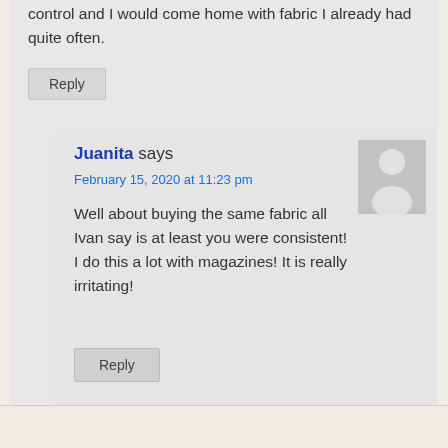control and I would come home with fabric I already had quite often.
Reply
Juanita says
February 15, 2020 at 11:23 pm
Well about buying the same fabric all Ivan say is at least you were consistent! I do this a lot with magazines! It is really irritating!
Reply